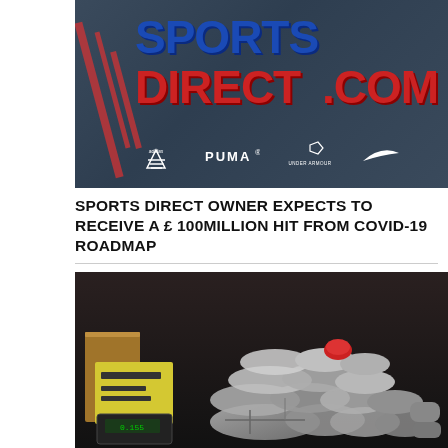[Figure (photo): Sports Direct store sign showing 'SPORTSDIRECT.COM' in blue and red large letters on dark grey panelled wall, with brand logos including adidas, PUMA, Under Armour, and Nike visible at the bottom.]
SPORTS DIRECT OWNER EXPECTS TO RECEIVE A £ 100MILLION HIT FROM COVID-19 ROADMAP
[Figure (photo): Dark image showing a pile of silver/grey wrapped packages or parcels stacked on a surface, with a yellow label/sign visible to the left and what appears to be a digital weighing scale at the bottom left. One red item is visible among the packages.]